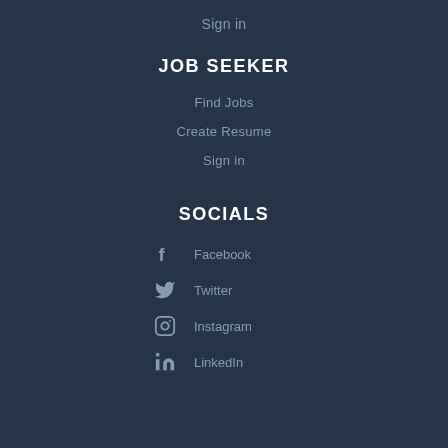Sign in
JOB SEEKER
Find Jobs
Create Resume
Sign in
SOCIALS
Facebook
Twitter
Instagram
LinkedIn